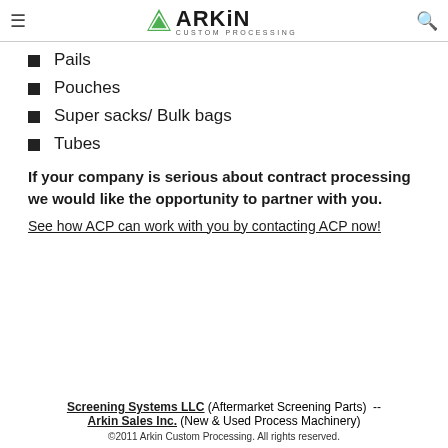≡  ARKIN CUSTOM PROCESSING  🔍
Pails
Pouches
Super sacks/ Bulk bags
Tubes
If your company is serious about contract processing we would like the opportunity to partner with you.
See how ACP can work with you by contacting ACP now!
Screening Systems LLC (Aftermarket Screening Parts) -- Arkin Sales Inc. (New & Used Process Machinery)
©2011 Arkin Custom Processing. All rights reserved.